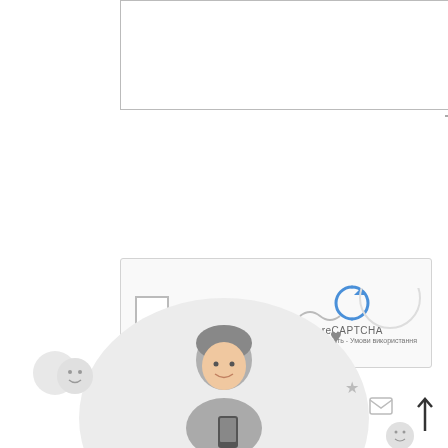[Figure (screenshot): Empty textarea input field with border]
[Figure (screenshot): reCAPTCHA widget with checkbox 'Я не робот' and reCAPTCHA logo with links 'Конфіденційність - Умови використання']
Я не робот
reCAPTCHA
Конфіденційність - Умови використання
НАДІСЛАТИ
[Figure (illustration): Illustration of a young man holding a smartphone, surrounded by social media icons (heart, emoji, star, mail), in a gray circle. Below is a red circular chat button with a cursor icon and a black speech bubble saying 'Маєте запитання?'. A scroll-to-top arrow is on the right.]
Маєте запитання?